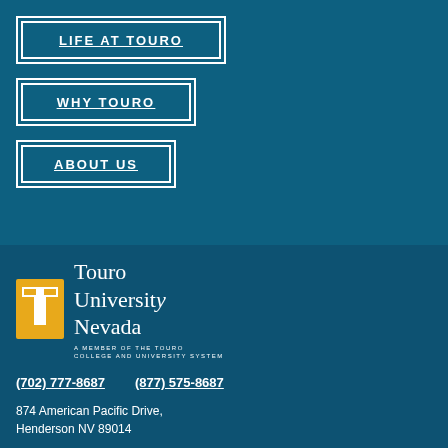LIFE AT TOURO
WHY TOURO
ABOUT US
[Figure (logo): Touro University Nevada logo with gold T icon and serif text, with tagline A MEMBER OF THE TOURO COLLEGE AND UNIVERSITY SYSTEM]
(702) 777-8687     (877) 575-8687
874 American Pacific Drive, Henderson NV 89014